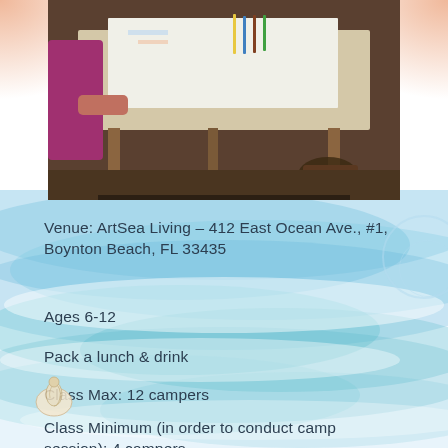[Figure (photo): Child sitting at a wooden art table working on a painting or drawing with brushes and art supplies visible on the table surface.]
Venue: ArtSea Living – 412 East Ocean Ave., #1, Boynton Beach, FL 33435
Ages 6-12
Pack a lunch & drink
Class Max: 12 campers
Class Minimum (in order to conduct camp session): 4 campers